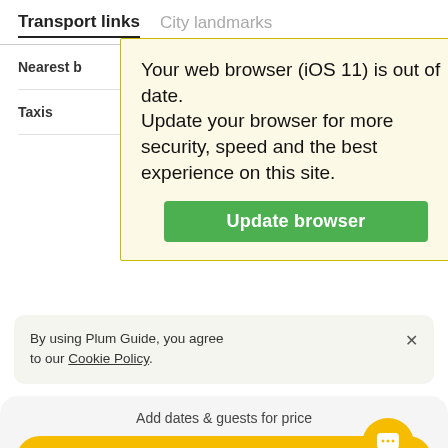Transport links   City landmarks
Nearest b... alk
Taxis ... ole
[Figure (screenshot): Browser update warning popup with yellow background. Text: 'Your web browser (iOS 11) is out of date. Update your browser for more security, speed and the best experience on this site.' Green button: 'Update browser']
By using Plum Guide, you agree to our Cookie Policy.
Add dates & guests for price
CHECK AVAILABILITY